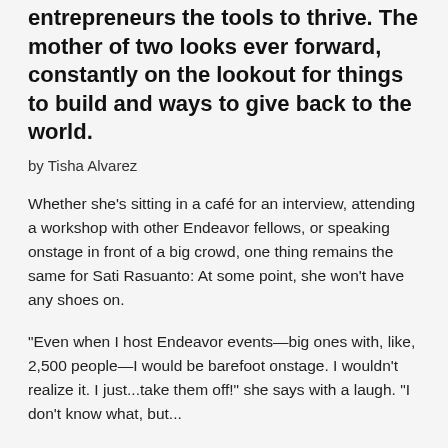entrepreneurs the tools to thrive. The mother of two looks ever forward, constantly on the lookout for things to build and ways to give back to the world.
by Tisha Alvarez
Whether she's sitting in a café for an interview, attending a workshop with other Endeavor fellows, or speaking onstage in front of a big crowd, one thing remains the same for Sati Rasuanto: At some point, she won't have any shoes on.
"Even when I host Endeavor events—big ones with, like, 2,500 people—I would be barefoot onstage. I wouldn't realize it. I just...take them off!" she says with a laugh. "I don't know what, but...